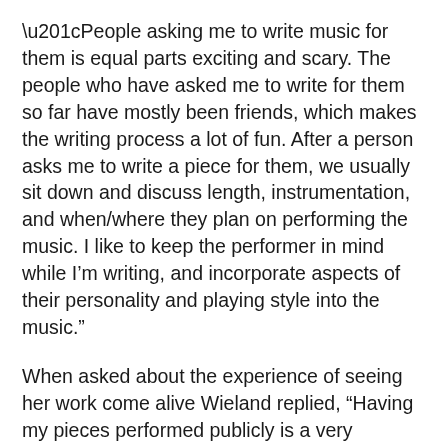“People asking me to write music for them is equal parts exciting and scary. The people who have asked me to write for them so far have mostly been friends, which makes the writing process a lot of fun. After a person asks me to write a piece for them, we usually sit down and discuss length, instrumentation, and when/where they plan on performing the music. I like to keep the performer in mind while I’m writing, and incorporate aspects of their personality and playing style into the music.”
When asked about the experience of seeing her work come alive Wieland replied, “Having my pieces performed publicly is a very interesting experience that I can’t quite explain. The music is never exactly how you expect it to sound- there are moments when you think wow, that sounded way better than I thought it would, and there are moments where you think the opposite. It took me a while to get used to